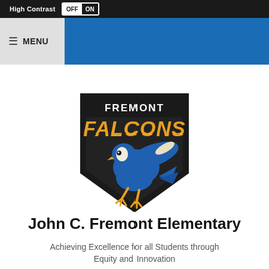High Contrast OFF ON
≡ MENU
[Figure (logo): Fremont Falcons mascot logo: a blue falcon in athletic pose with yellow-orange 'FREMONT FALCONS' text on a black shield/pennant background]
John C. Fremont Elementary
Achieving Excellence for all Students through Equity and Innovation